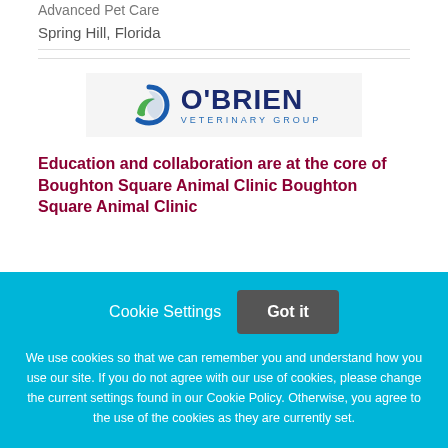Spring Hill, Florida
[Figure (logo): O'Brien Veterinary Group logo with circular swoosh icon in blue and green, with the text O'BRIEN in dark navy and VETERINARY GROUP in blue below]
Education and collaboration are at the core of Boughton Square Animal Clinic Boughton Square Animal Clinic
Cookie Settings
Got it
We use cookies so that we can remember you and understand how you use our site. If you do not agree with our use of cookies, please change the current settings found in our Cookie Policy. Otherwise, you agree to the use of the cookies as they are currently set.